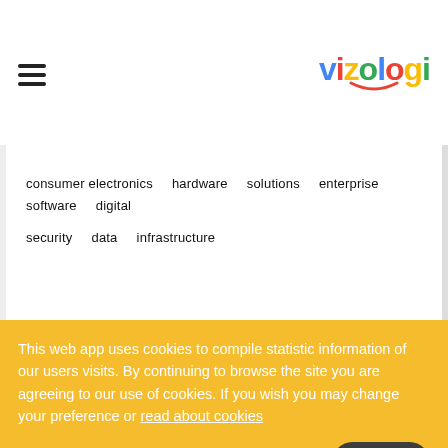vizologi (logo with hamburger menu)
consumer electronics   hardware   solutions   enterprise   software   digital   security   data   infrastructure
This web app uses cookies to compile statistic information of our users visits. By continuing to browse the site you are agreeing to our use of cookies. If you wish you may change your preference or read about cookies
OK